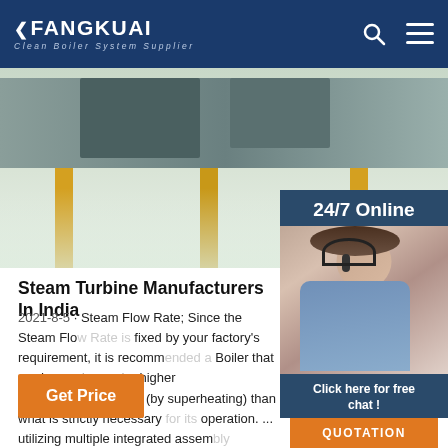FANGKUAI Clean Boiler System Supplier
[Figure (photo): Industrial factory floor interior with yellow pillars and industrial equipment]
[Figure (photo): 24/7 Online chat widget with woman wearing headset, blue background, click here for free chat and QUOTATION button]
Steam Turbine Manufacturers In India
2021-8-5 · Steam Flow Rate; Since the Steam Flow Rate is fixed by your factory's requirement, it is recommended a Boiler that produces steam at a higher pressure/temperature (by superheating) than what is strictly necessary for its operation. ... utilizing multiple integrated assembly systems to generate ...
Get Price
TOP